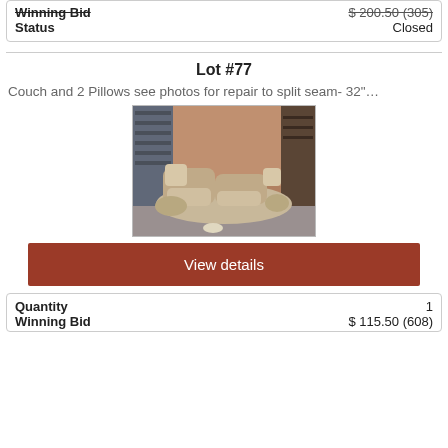| Winning Bid | $ 200.50 (305) |
| --- | --- |
| Status | Closed |
Lot #77
Couch and 2 Pillows see photos for repair to split seam- 32"…
[Figure (photo): Photo of a beige curved sectional couch with 2 pillows in a storage/garage setting with shelving in the background]
View details
| Quantity | 1 |
| --- | --- |
| Winning Bid | $ 115.50 (608) |